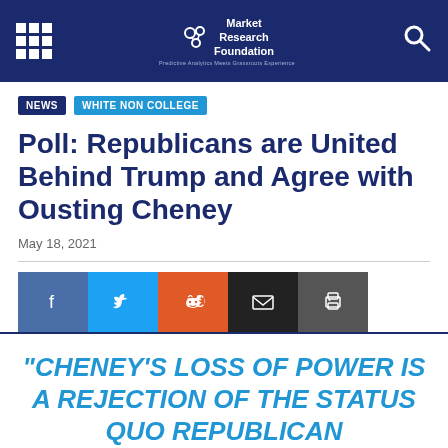Market Research Foundation — Predictive Analytics Meets Grassroots Experience
NEWS  WHITE NON COLLEGE
Poll: Republicans are United Behind Trump and Agree with Ousting Cheney
May 18, 2021
[Figure (other): Social sharing buttons: Facebook, Twitter, Reddit, Email, Print]
“CHENEY’S LOSS OF POWER IS A REJECTION OF THE STATUS QUO REPUBLICAN